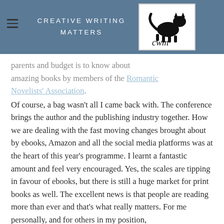CREATIVE WRITING MATTERS
...parents and budget is to know about amazing books by members of the Romantic Novelists' Association.
Of course, a bag wasn't all I came back with. The conference brings the author and the publishing industry together. How we are dealing with the fast moving changes brought about by ebooks, Amazon and all the social media platforms was at the heart of this year's programme. I learnt a fantastic amount and feel very encouraged. Yes, the scales are tipping in favour of ebooks, but there is still a huge market for print books as well. The excellent news is that people are reading more than ever and that's what really matters. For me personally, and for others in my position,